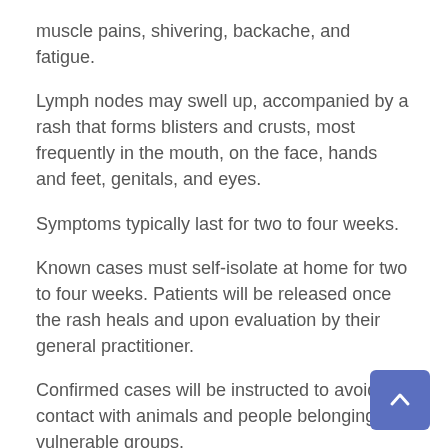muscle pains, shivering, backache, and fatigue.
Lymph nodes may swell up, accompanied by a rash that forms blisters and crusts, most frequently in the mouth, on the face, hands and feet, genitals, and eyes.
Symptoms typically last for two to four weeks.
Known cases must self-isolate at home for two to four weeks. Patients will be released once the rash heals and upon evaluation by their general practitioner.
Confirmed cases will be instructed to avoid contact with animals and people belonging to vulnerable groups.
Monkeypox can be transmitted from animals to humans through contact with an infected animal's blood, body fluids, or skin wounds.
Humans can get infected by consuming meat of infected